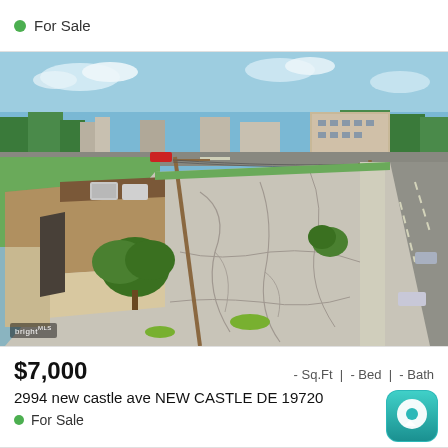For Sale
[Figure (photo): Aerial photograph of a commercial property at 2994 New Castle Ave, New Castle DE 19720. Shows a building with a flat/sloped roof, large paved parking lot with cracks, surrounding green grass, nearby trees, and a busy road intersection in the background with other commercial buildings and traffic visible.]
$7,000   - Sq.Ft | - Bed | - Bath
2994 new castle ave NEW CASTLE DE 19720
For Sale